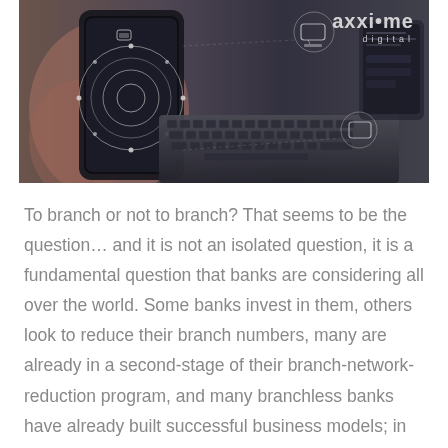[Figure (photo): A person holding a smartphone with digital interface overlays (circular HUD graphics, connected icons) while typing on a laptop keyboard. The image has a dark, technological blue-grey tone. The Axxiome Digital logo is overlaid in the top-right corner.]
To branch or not to branch? That seems to be the question… and it is not an isolated question, it is a fundamental question that banks are considering all over the world. Some banks invest in them, others look to reduce their branch numbers, many are already in a second-stage of their branch-network-reduction program, and many branchless banks have already built successful business models; in most cases these are new challenger